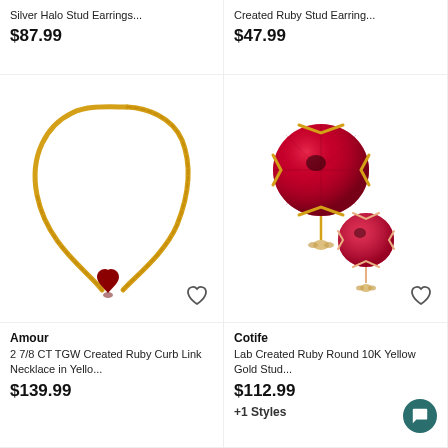Silver Halo Stud Earrings...
$87.99
Created Ruby Stud Earring...
$47.99
[Figure (photo): Gold curb link necklace with dark red heart-shaped pendant]
[Figure (photo): Lab created ruby round stud earrings in rose/yellow gold, showing two earrings]
Amour
2 7/8 CT TGW Created Ruby Curb Link Necklace in Yello...
$139.99
Cotife
Lab Created Ruby Round 10K Yellow Gold Stud...
$112.99
+1 Styles